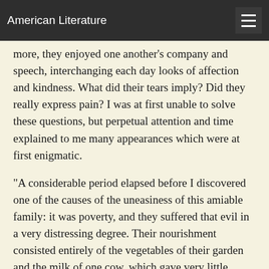American Literature
more, they enjoyed one another's company and speech, interchanging each day looks of affection and kindness. What did their tears imply? Did they really express pain? I was at first unable to solve these questions, but perpetual attention and time explained to me many appearances which were at first enigmatic.
"A considerable period elapsed before I discovered one of the causes of the uneasiness of this amiable family: it was poverty, and they suffered that evil in a very distressing degree. Their nourishment consisted entirely of the vegetables of their garden and the milk of one cow, which gave very little